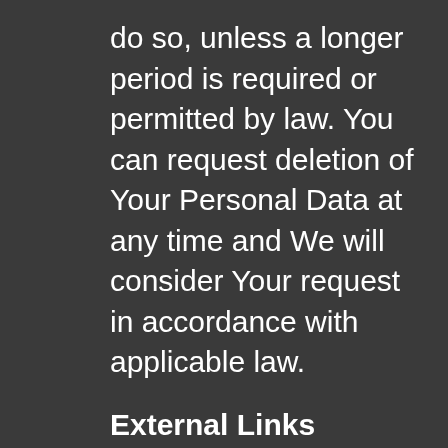do so, unless a longer period is required or permitted by law. You can request deletion of Your Personal Data at any time and We will consider Your request in accordance with applicable law.
External Links
The HTTPS://VINDICATE5.BLOGSPOT.COM/ Site and Service may link to other websites or services. Other websites may also contain links to the HTTPS://VINDICATE5.BLOGSPOT.COM/ Site or Service. HTTPS://VINDICATE5.BLOGSPOT.COM/